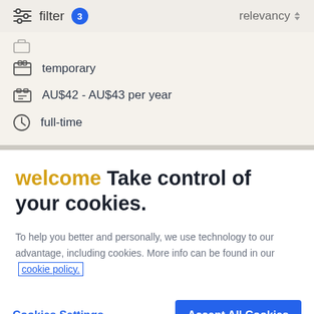filter 3  relevancy
temporary
AU$42 - AU$43 per year
full-time
welcome Take control of your cookies.
To help you better and personally, we use technology to our advantage, including cookies. More info can be found in our cookie policy.
Cookies Settings  Accept All Cookies